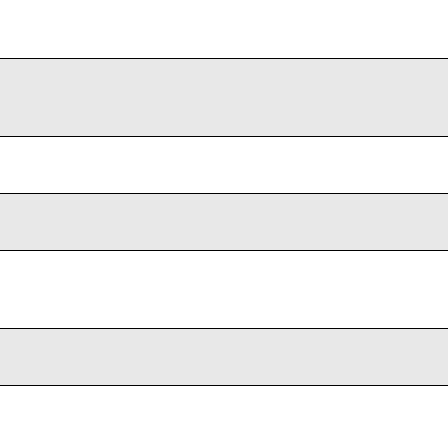| Status | Year | ID | Description |
| --- | --- | --- | --- |
| Alive | 2001 | 0011 10th #C03 | Fir Tra Ma |
| Alive | 2001 | C012 10th #C04 | Fir Tra Ma |
| Alive | 2001 | 0015 | Fir Tra |
| Alive | 2001 | 0018 | Fir Tra |
| Alive | 2001 | C019 10th #C05 | Fir Tra Ma |
| Alive | 2001 | 0020 | Fir Tra |
| Alive | 2001 | C020 10th #C06 | Fir Tra Ma |
| Alive | 2001 | 0022 | Fir Fo |
| Alive | 2001 | 0025 | Fir Tra |
| Alive | 2001 | C026 10th #C07 | Fir Tra Ma |